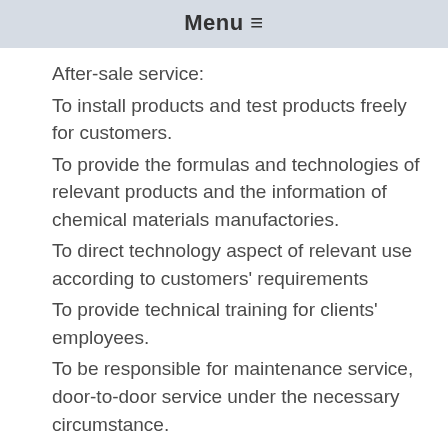Menu ≡
After-sale service:
To install products and test products freely for customers.
To provide the formulas and technologies of relevant products and the information of chemical materials manufactories.
To direct technology aspect of relevant use according to customers' requirements
To provide technical training for clients' employees.
To be responsible for maintenance service, door-to-door service under the necessary circumstance.